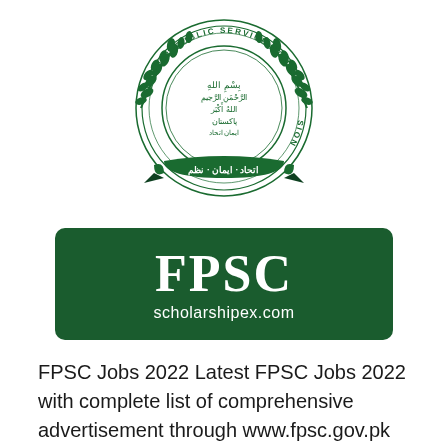[Figure (logo): Federal Public Service Commission (FPSC) emblem — green circular wreath with Arabic calligraphy in the center and text 'FEDERAL PUBLIC SERVICE COMMISSION' around the border, with a green banner below containing Arabic text]
[Figure (logo): Dark green rounded rectangle banner reading 'FPSC' in large white serif font, with 'scholarshipex.com' in smaller white text below]
FPSC Jobs 2022 Latest FPSC Jobs 2022 with complete list of comprehensive advertisement through www.fpsc.gov.pk FPSC Jobs and Recruitment Consolidated Advertisements 2022 FPSC Latest Jobs 2022